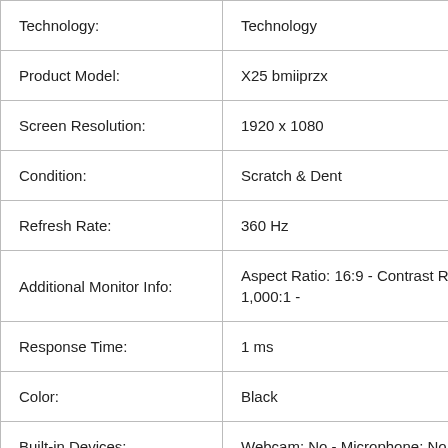| Attribute | Value |
| --- | --- |
| Technology: | Technology |
| Product Model: | X25 bmiiprzx |
| Screen Resolution: | 1920 x 1080 |
| Condition: | Scratch & Dent |
| Refresh Rate: | 360 Hz |
| Additional Monitor Info: | Aspect Ratio: 16:9 - Contrast Ratio: 1,000:1 - |
| Response Time: | 1 ms |
| Color: | Black |
| Built-in Devices: | Webcam: No - Microphone: No |